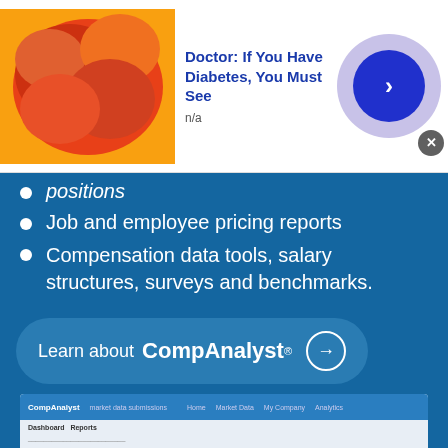[Figure (screenshot): Top advertisement banner: candy/gummy bear image on left, text 'Doctor: If You Have Diabetes, You Must See' in blue bold, 'n/a' below, large circular arrow button on right, close X button]
positions
Job and employee pricing reports
Compensation data tools, salary structures, surveys and benchmarks.
[Figure (screenshot): CompAnalyst call-to-action button and screenshot of CompAnalyst dashboard interface]
This site uses cookies and other similar technologies to provide site functionality, analyze traffic and usage, and
[Figure (screenshot): Bottom advertisement banner: candy/gummy bear image on left, text 'Doctor: If You Have Diabetes, You Must See' in blue bold, 'n/a' below, large circular arrow button on right, close X button]